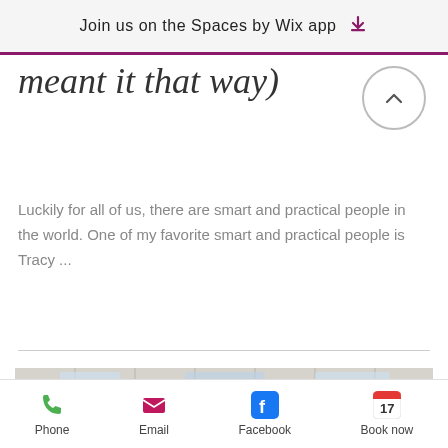Join us on the Spaces by Wix app
meant it that way)
Luckily for all of us, there are smart and practical people in the world. One of my favorite smart and practical people is Tracy ...
[Figure (photo): Interior photo of a room with drop ceiling tiles, fluorescent lighting, and curtains/drapes on the sides]
Phone  Email  Facebook  Book now